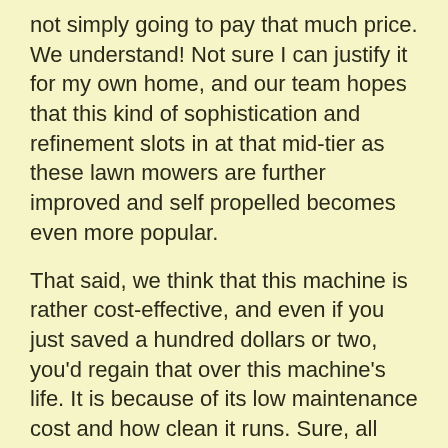not simply going to pay that much price. We understand! Not sure I can justify it for my own home, and our team hopes that this kind of sophistication and refinement slots in at that mid-tier as these lawn mowers are further improved and self propelled becomes even more popular.
That said, we think that this machine is rather cost-effective, and even if you just saved a hundred dollars or two, you'd regain that over this machine's life. It is because of its low maintenance cost and how clean it runs. Sure, all electrics offer these benefits to a certain degree, but this mower is particularly efficient.